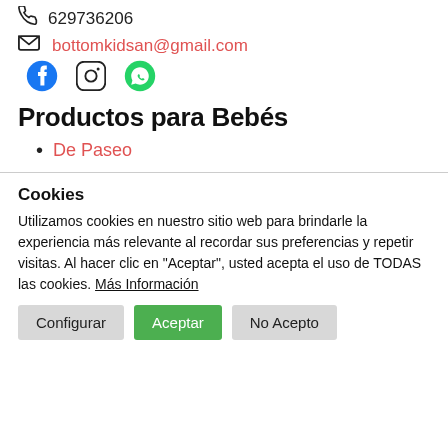Envíos a toda España
629736206
bottomkidsan@gmail.com
[Figure (other): Social media icons: Facebook, Instagram, WhatsApp]
Productos para Bebés
De Paseo
Cookies
Utilizamos cookies en nuestro sitio web para brindarle la experiencia más relevante al recordar sus preferencias y repetir visitas. Al hacer clic en "Aceptar", usted acepta el uso de TODAS las cookies. Más Información
Configurar | Aceptar | No Acepto